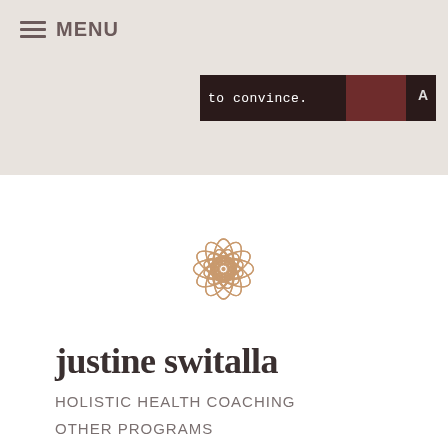MENU
[Figure (screenshot): Video thumbnail strip showing text 'to convince.' with dark background and partial image]
[Figure (logo): Justine Switalla lotus flower mandala logo in rose gold/copper color]
justine switalla
HOLISTIC HEALTH COACHING
OTHER PROGRAMS
TERMS & CONDITIONS
Stay connected
[Figure (infographic): Social media icons: Facebook, Twitter, Instagram]